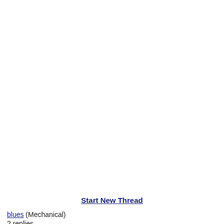Start New Thread
blues (Mechanical)
2 replies